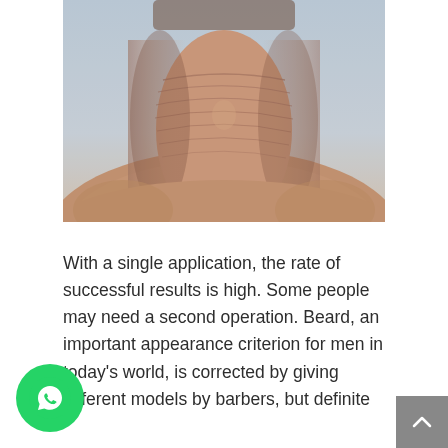[Figure (photo): Close-up photograph of a man's neck and lower chin area showing skin texture and wrinkles, on a light blue-grey background. The person appears shirtless.]
With a single application, the rate of successful results is high. Some people may need a second operation. Beard, an important appearance criterion for men in today's world, is corrected by giving different models by barbers, but definite